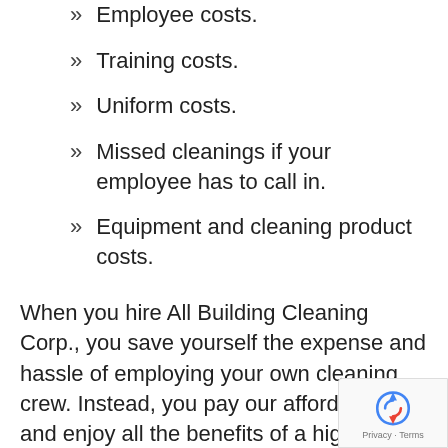Employee costs.
Training costs.
Uniform costs.
Missed cleanings if your employee has to call in.
Equipment and cleaning product costs.
When you hire All Building Cleaning Corp., you save yourself the expense and hassle of employing your own cleaning crew. Instead, you pay our affordable rate and enjoy all the benefits of a highly